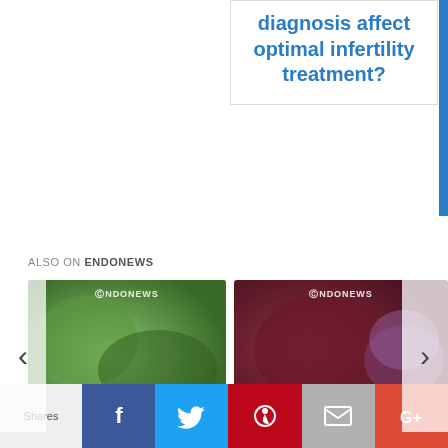diagnosis affect optimal infertility treatment?
ALSO ON ENDONEWS
[Figure (photo): Card showing a person drinking water with green background, Endonews logo, text: rs ago • 10 comments, title: Endometriosis]
[Figure (photo): Card showing close-up of body tissue with purple elements, Endonews logo, text: 2 years ago • 1 comments, title: Appendicea]
Shares